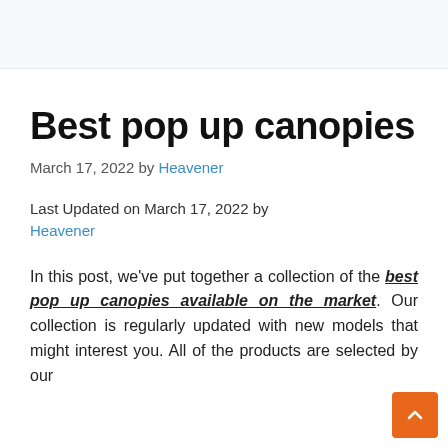Best pop up canopies
March 17, 2022 by Heavener
Last Updated on March 17, 2022 by Heavener
In this post, we've put together a collection of the best pop up canopies available on the market. Our collection is regularly updated with new models that might interest you. All of the products are selected by our